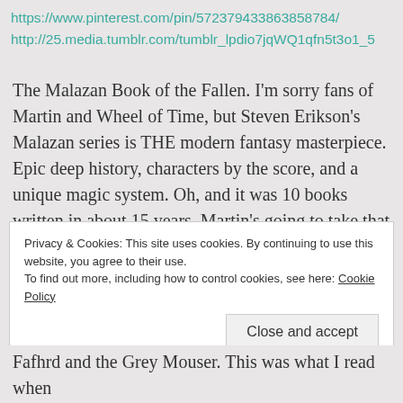https://www.pinterest.com/pin/572379433863858784/
http://25.media.tumblr.com/tumblr_lpdio7jqWQ1qfn5t3o1_5
The Malazan Book of the Fallen. I'm sorry fans of Martin and Wheel of Time, but Steven Erikson's Malazan series is THE modern fantasy masterpiece. Epic deep history, characters by the score, and a unique magic system. Oh, and it was 10 books written in about 15 years. Martin's going to take that long to write THREE Song of Ice & Fire books, and none of them have been *good* since Storm of Swords. Admit it. You know it's true.
Privacy & Cookies: This site uses cookies. By continuing to use this website, you agree to their use.
To find out more, including how to control cookies, see here: Cookie Policy
Fafhrd and the Grey Mouser. This was what I read when